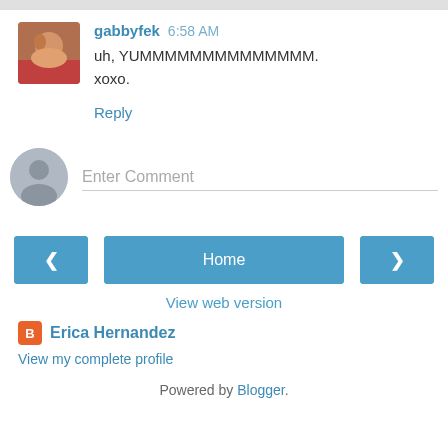gabbyfek 6:58 AM
uh, YUMMMMMMMMMMMMMM.
xoxo.
Reply
Enter Comment
< Home >
View web version
Erica Hernandez
View my complete profile
Powered by Blogger.